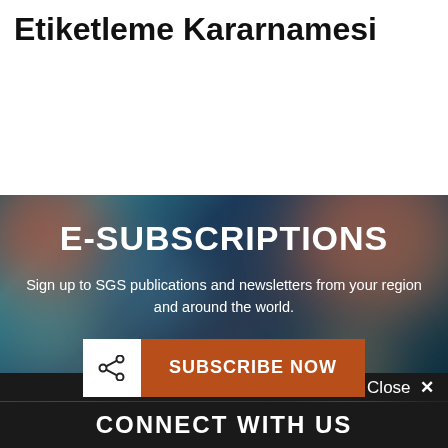Etiketleme Kararnamesi
[Figure (illustration): Bokeh background banner with blurred colored lights in teal, orange, and green tones]
E-SUBSCRIPTIONS
Sign up to SGS publications and newsletters from your region and around the world.
SUBSCRIBE NOW
Close ×
CONNECT WITH US